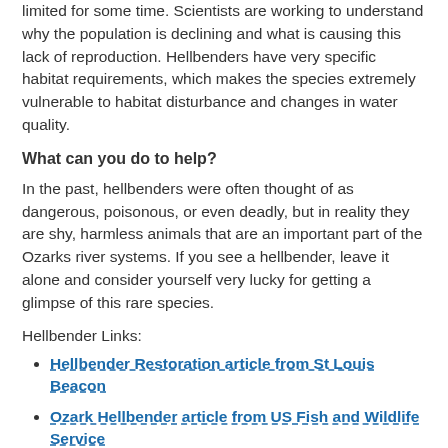limited for some time. Scientists are working to understand why the population is declining and what is causing this lack of reproduction. Hellbenders have very specific habitat requirements, which makes the species extremely vulnerable to habitat disturbance and changes in water quality.
What can you do to help?
In the past, hellbenders were often thought of as dangerous, poisonous, or even deadly, but in reality they are shy, harmless animals that are an important part of the Ozarks river systems. If you see a hellbender, leave it alone and consider yourself very lucky for getting a glimpse of this rare species.
Hellbender Links:
Hellbender Restoration article from St Louis Beacon
Ozark Hellbender article from US Fish and Wildlife Service
Ozark Hellbender Video from MDC
Ozark Hellbenders in Current River article from National